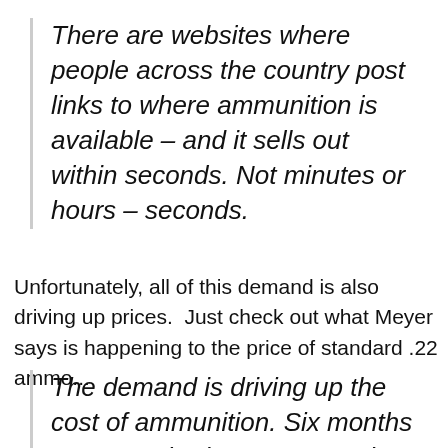There are websites where people across the country post links to where ammunition is available – and it sells out within seconds. Not minutes or hours – seconds.
Unfortunately, all of this demand is also driving up prices.  Just check out what Meyer says is happening to the price of standard .22 ammo...
The demand is driving up the cost of ammunition. Six months ago, standard .22 ammo – the most